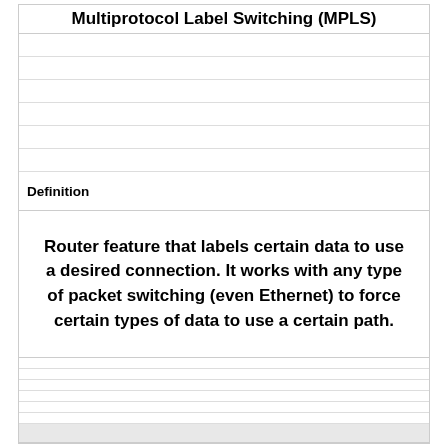Multiprotocol Label Switching (MPLS)
Definition
Router feature that labels certain data to use a desired connection. It works with any type of packet switching (even Ethernet) to force certain types of data to use a certain path.